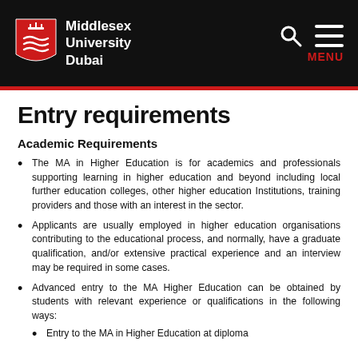Middlesex University Dubai
Entry requirements
Academic Requirements
The MA in Higher Education is for academics and professionals supporting learning in higher education and beyond including local further education colleges, other higher education Institutions, training providers and those with an interest in the sector.
Applicants are usually employed in higher education organisations contributing to the educational process, and normally, have a graduate qualification, and/or extensive practical experience and an interview may be required in some cases.
Advanced entry to the MA Higher Education can be obtained by students with relevant experience or qualifications in the following ways:
Entry to the MA in Higher Education at diploma